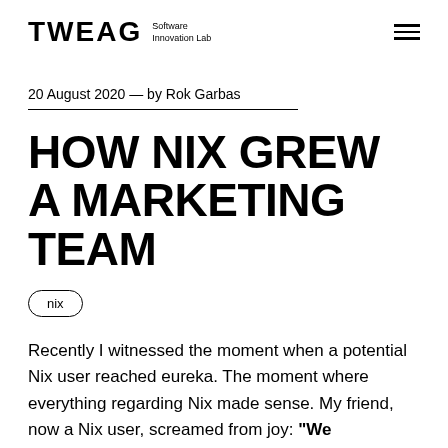TWEAG Software Innovation Lab
20 August 2020 — by Rok Garbas
HOW NIX GREW A MARKETING TEAM
nix
Recently I witnessed the moment when a potential Nix user reached eureka. The moment where everything regarding Nix made sense. My friend, now a Nix user, screamed from joy: “We